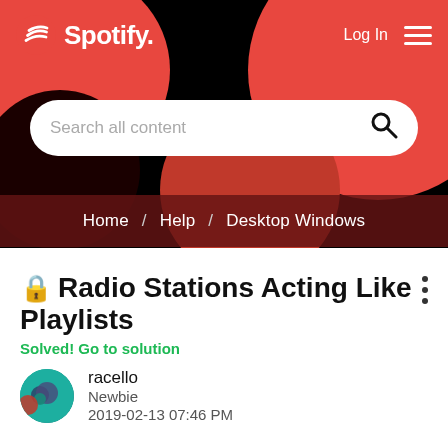[Figure (screenshot): Spotify website header with black background, red decorative circles, Spotify logo (top left), Log In link and hamburger menu (top right), a white rounded search bar with placeholder 'Search all content' and a magnifying glass icon, and a dark brownish-red breadcrumb bar showing 'Home / Help / Desktop Windows']
🔒 Radio Stations Acting Like Playlists
Solved! Go to solution
racello
Newbie
2019-02-13 07:46 PM